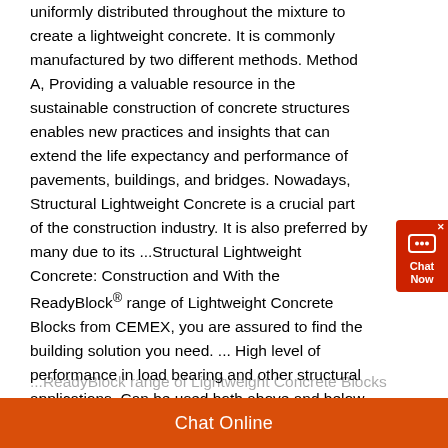uniformly distributed throughout the mixture to create a lightweight concrete. It is commonly manufactured by two different methods. Method A, Providing a valuable resource in the sustainable construction of concrete structures enables new practices and insights that can extend the life expectancy and performance of pavements, buildings, and bridges. Nowadays, Structural Lightweight Concrete is a crucial part of the construction industry. It is also preferred by many due to its ...Structural Lightweight Concrete: Construction and With the ReadyBlock® range of Lightweight Concrete Blocks from CEMEX, you are assured to find the building solution you need. ... High level of performance in load bearing and other structural applications. Can be used both above and below ground. ... Find out more about our 1100 lightweight concrete block. Download. Get in Touch. For more ...ReadyBlock range of Lightweight Concrete Blocks
[Figure (other): Chat Now widget button in red/dark red with chat bubble icon and X close button]
Chat Online